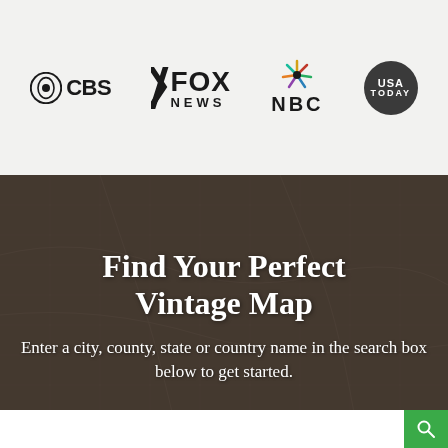[Figure (logo): Media brand logos: CBS, Fox News, NBC, USA Today displayed in a row on a light grey background]
[Figure (photo): Hero section with dark overlay over a vintage map and a man looking down at a map. Contains headline text 'Find Your Perfect Vintage Map' and subtext 'Enter a city, county, state or country name in the search box below to get started.' with a search bar at the bottom.]
Find Your Perfect Vintage Map
Enter a city, county, state or country name in the search box below to get started.